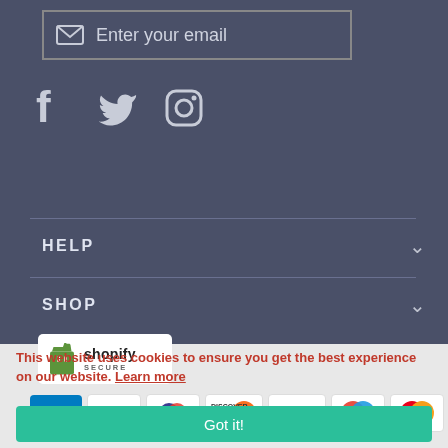Enter your email
[Figure (illustration): Social media icons: Facebook (f), Twitter (bird), Instagram (camera)]
HELP
SHOP
[Figure (logo): Shopify Secure badge - white rectangle with green shopify bag icon and text 'shopify SECURE']
[Figure (illustration): Payment method icons: Amex, Apple Pay, Diners Club, Discover, Google Pay, Maestro, Mastercard, PayPal]
This website uses cookies to ensure you get the best experience on our website. Learn more
Got it!